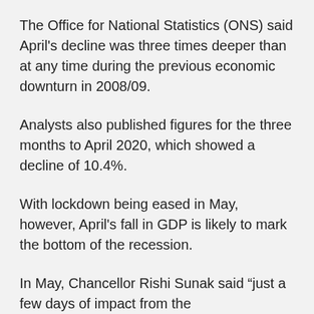The Office for National Statistics (ONS) said April's decline was three times deeper than at any time during the previous economic downturn in 2008/09.
Analysts also published figures for the three months to April 2020, which showed a decline of 10.4%.
With lockdown being eased in May, however, April's fall in GDP is likely to mark the bottom of the recession.
In May, Chancellor Rishi Sunak said “just a few days of impact from the